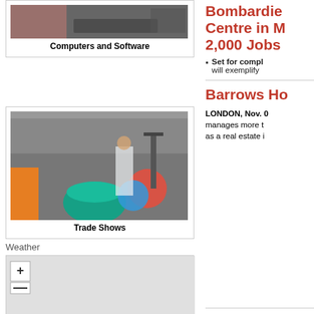[Figure (photo): Photo of person using a computer/keyboard, partially visible at top]
Computers and Software
[Figure (photo): Indoor trade show scene with colorful furniture and clothing displays]
Trade Shows
Weather
[Figure (map): Weather map with zoom control showing a + button]
Bombardie Centre in M 2,000 Jobs
Set for compl will exemplify
Barrows Ho
LONDON, Nov. C manages more t as a real estate i